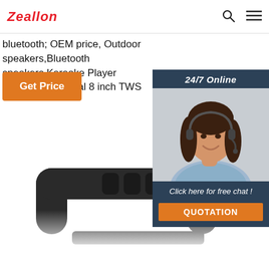Zeallon
bluetooth; OEM price, Outdoor speakers,Bluetooth speakers,Karaoke Player speakers,JBL dual 8 inch TWS
Get Price
[Figure (photo): Black portable bluetooth speaker with handle/bracket, viewed from front, dark background fading out]
[Figure (photo): Customer service representative woman with headset smiling, with 24/7 Online label, Click here for free chat text, and QUOTATION button on dark blue panel]